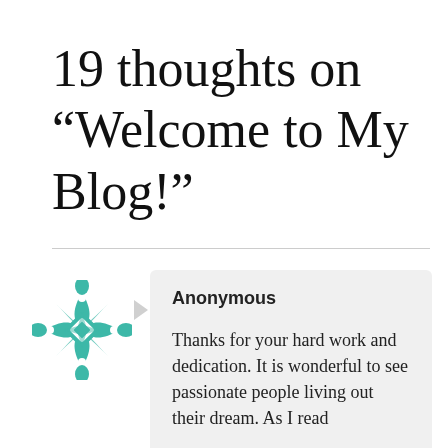19 thoughts on “Welcome to My Blog!”
Anonymous
Thanks for your hard work and dedication. It is wonderful to see passionate people living out their dream. As I read